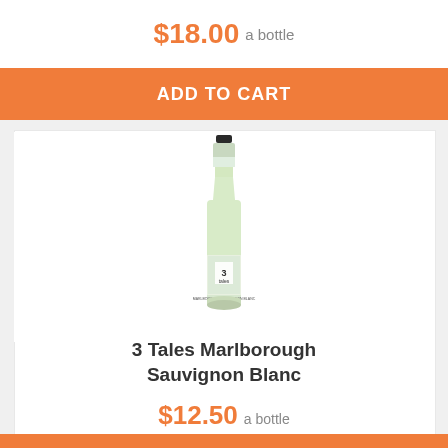$18.00 a bottle
ADD TO CART
[Figure (photo): Wine bottle of 3 Tales Marlborough Sauvignon Blanc with white and green label featuring '3 Tales' branding]
3 Tales Marlborough Sauvignon Blanc
$12.50 a bottle